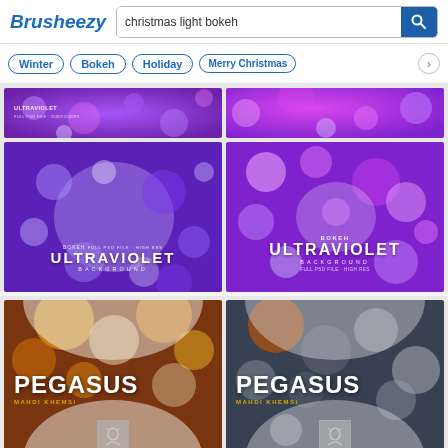[Figure (screenshot): Brusheezy website header with logo and search bar showing 'christmas light bokeh']
[Figure (screenshot): Tag filter row with buttons: Winter, Bokeh, Holiday, Merry Christmas and a next arrow]
[Figure (illustration): Top partial thumbnail left - purple bokeh background with text partially visible]
[Figure (illustration): Top partial thumbnail right - purple bokeh background]
[Figure (illustration): Bokeh Ultraviolet Background - purple bokeh full PSD file high res]
[Figure (illustration): Bokeh Ultraviolet Background - second version with pink/purple bokeh]
[Figure (illustration): Pegasus - Mahdi Khemsi album cover with golden bokeh]
[Figure (illustration): Pegasus - Mahdi Khemsi album cover second version with dark bokeh]